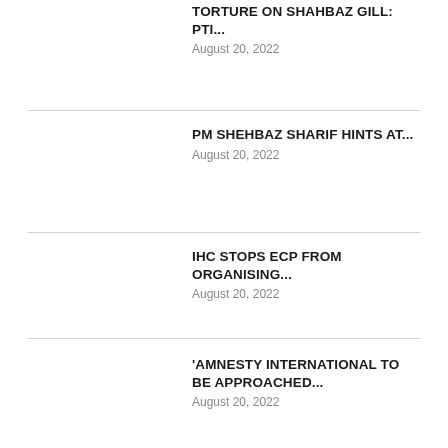TORTURE ON SHAHBAZ GILL: PTI...
August 20, 2022
PM SHEHBAZ SHARIF HINTS AT...
August 20, 2022
IHC STOPS ECP FROM ORGANISING...
August 20, 2022
'AMNESTY INTERNATIONAL TO BE APPROACHED...
August 20, 2022